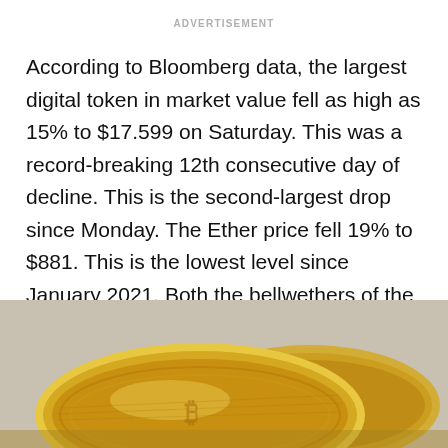ADVERTISEMENT
According to Bloomberg data, the largest digital token in market value fell as high as 15% to $17.599 on Saturday. This was a record-breaking 12th consecutive day of decline. This is the second-largest drop since Monday. The Ether price fell 19% to $881. This is the lowest level since January 2021. Both the bellwethers of the crypto market are down 70% from their all-time highs in November.
[Figure (photo): Close-up photo of gold bitcoin/cryptocurrency coins against a grey background]